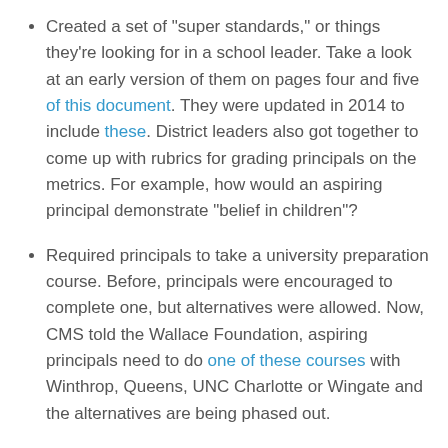Created a set of "super standards," or things they're looking for in a school leader. Take a look at an early version of them on pages four and five of this document. They were updated in 2014 to include these. District leaders also got together to come up with rubrics for grading principals on the metrics. For example, how would an aspiring principal demonstrate "belief in children"?
Required principals to take a university preparation course. Before, principals were encouraged to complete one, but alternatives were allowed. Now, CMS told the Wallace Foundation, aspiring principals need to do one of these courses with Winthrop, Queens, UNC Charlotte or Wingate and the alternatives are being phased out.
Tweaked the criteria for entering the principal "talent pool" from which CMS hires leaders. Changes have alternated between being more